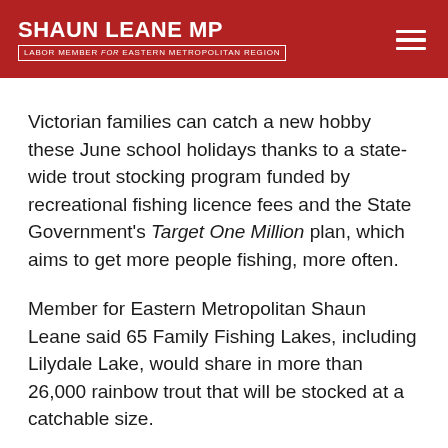SHAUN LEANE MP — LABOR MEMBER for EASTERN METROPOLITAN REGION
Victorian families can catch a new hobby these June school holidays thanks to a state-wide trout stocking program funded by recreational fishing licence fees and the State Government's Target One Million plan, which aims to get more people fishing, more often.
Member for Eastern Metropolitan Shaun Leane said 65 Family Fishing Lakes, including Lilydale Lake, would share in more than 26,000 rainbow trout that will be stocked at a catchable size.